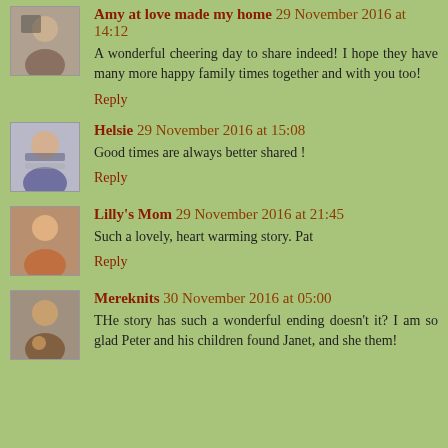Amy at love made my home 29 November 2016 at 14:12
A wonderful cheering day to share indeed! I hope they have many more happy family times together and with you too!
Reply
Helsie 29 November 2016 at 15:08
Good times are always better shared !
Reply
Lilly's Mom 29 November 2016 at 21:45
Such a lovely, heart warming story. Pat
Reply
Mereknits 30 November 2016 at 05:00
THe story has such a wonderful ending doesn't it? I am so glad Peter and his children found Janet, and she them!